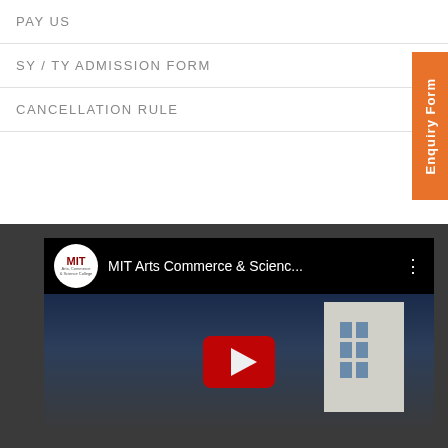PAY US
SY / TY ADMISSION FORM
CANCELLATION RULE
Enquiry Form
[Figure (screenshot): YouTube video embed showing MIT Arts Commerce & Science channel with a building thumbnail and play button overlay on a dark background]